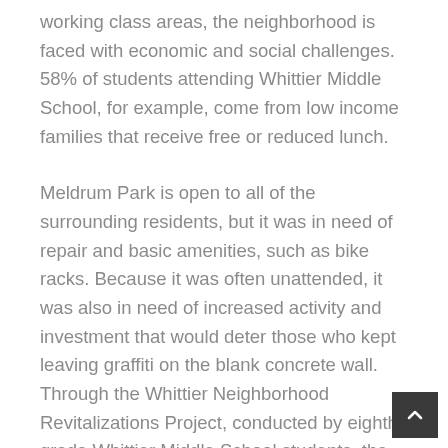working class areas, the neighborhood is faced with economic and social challenges. 58% of students attending Whittier Middle School, for example, come from low income families that receive free or reduced lunch.
Meldrum Park is open to all of the surrounding residents, but it was in need of repair and basic amenities, such as bike racks. Because it was often unattended, it was also in need of increased activity and investment that would deter those who kept leaving graffiti on the blank concrete wall. Through the Whittier Neighborhood Revitalizations Project, conducted by eighth grade Whittier Middle School students, the community identified the need for an emblem that would speak to the area's diverse